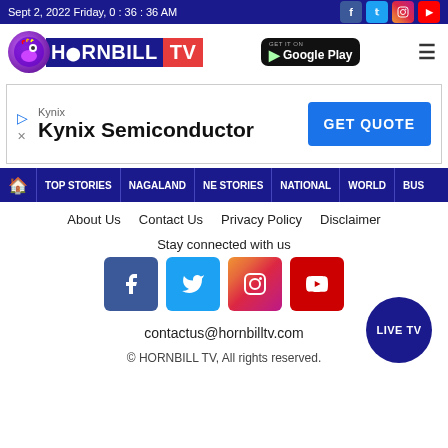Sept 2, 2022 Friday, 0 : 36 : 36 AM
[Figure (logo): Hornbill TV logo with Google Play button and hamburger menu]
[Figure (other): Kynix Semiconductor advertisement banner with GET QUOTE button]
TOP STORIES | NAGALAND | NE STORIES | NATIONAL | WORLD | BUS
About Us
Contact Us
Privacy Policy
Disclaimer
Stay connected with us
contactus@hornbilltv.com
© HORNBILL TV, All rights reserved.